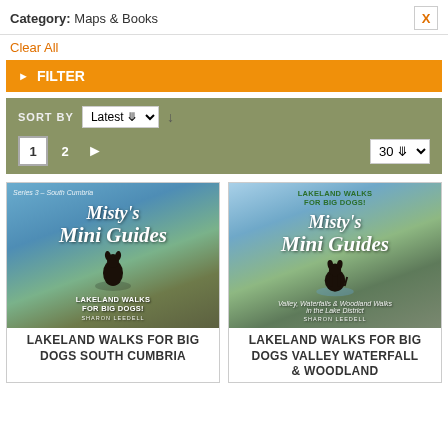Category: Maps & Books
Clear All
FILTER
SORT BY Latest 30
[Figure (illustration): Book cover: Misty's Mini Guides - Lakeland Walks for Big Dogs South Cumbria, showing a dog sitting on a hillside overlooking a lake]
LAKELAND WALKS FOR BIG DOGS SOUTH CUMBRIA
[Figure (illustration): Book cover: Misty's Mini Guides - Lakeland Walks for Big Dogs! Valley, Waterfalls & Woodland Walks in the Lake District, showing a dog standing in a stream]
LAKELAND WALKS FOR BIG DOGS VALLEY WATERFALL & WOODLAND